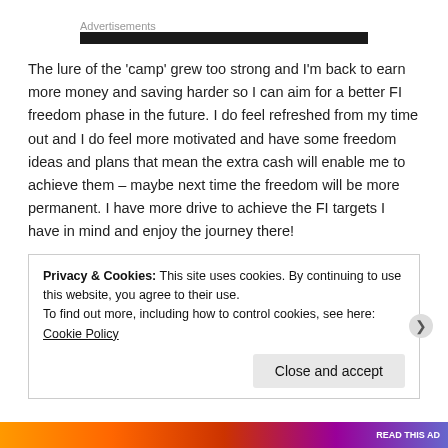Advertisements
The lure of the 'camp' grew too strong and I'm back to earn more money and saving harder so I can aim for a better FI freedom phase in the future. I do feel refreshed from my time out and I do feel more motivated and have some freedom ideas and plans that mean the extra cash will enable me to achieve them – maybe next time the freedom will be more permanent. I have more drive to achieve the FI targets I have in mind and enjoy the journey there!
Privacy & Cookies: This site uses cookies. By continuing to use this website, you agree to their use.
To find out more, including how to control cookies, see here: Cookie Policy
Close and accept